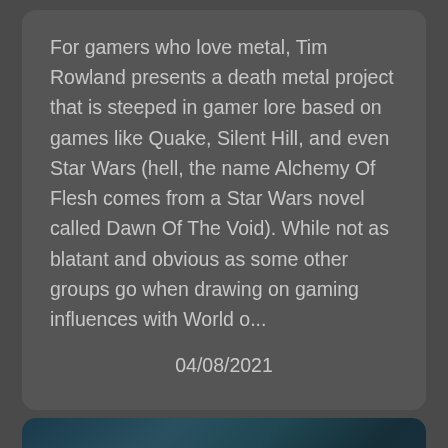For gamers who love metal, Tim Rowland presents a death metal project that is steeped in gamer lore based on games like Quake, Silent Hill, and even Star Wars (hell, the name Alchemy Of Flesh comes from a Star Wars novel called Dawn Of The Void). While not as blatant and obvious as some other groups go when drawing on gaming influences with World o...
04/08/2021
[Figure (logo): Metal band logo reading 'DEFORMATORY' in ornate death metal style lettering with antler-like decorative elements, rendered in pale yellowish-beige color against a dark teal/blue smoky background]